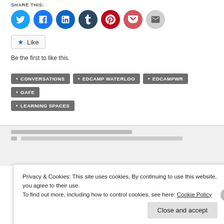SHARE THIS:
[Figure (infographic): Row of social media sharing icons: Twitter (blue), Facebook (blue), LinkedIn (dark blue), Tumblr (dark navy), Pinterest (red), Pocket (red/pink), Email (gray)]
[Figure (infographic): Like button with star icon and text 'Like']
Be the first to like this.
CONVERSATIONS
EDCAMP WATERLOO
EDCAMPWR
GAFE
LEARNING SPACES
Privacy & Cookies: This site uses cookies. By continuing to use this website, you agree to their use. To find out more, including how to control cookies, see here: Cookie Policy
Close and accept